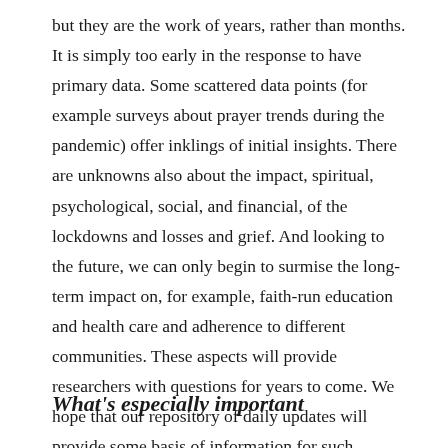but they are the work of years, rather than months. It is simply too early in the response to have primary data. Some scattered data points (for example surveys about prayer trends during the pandemic) offer inklings of initial insights. There are unknowns also about the impact, spiritual, psychological, social, and financial, of the lockdowns and losses and grief. And looking to the future, we can only begin to surmise the long-term impact on, for example, faith-run education and health care and adherence to different communities. These aspects will provide researchers with questions for years to come. We hope that our repository of daily updates will provide some basis of information for such researchers.
What's especially important